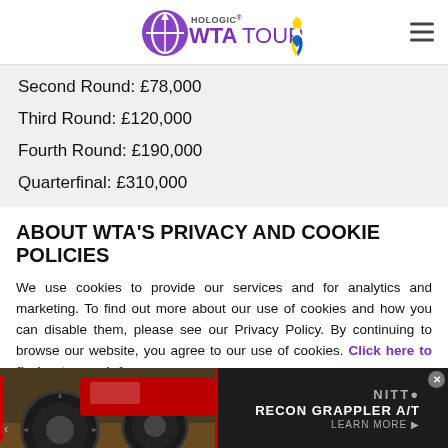Hologic WTA Tour [logo]
Second Round: £78,000
Third Round: £120,000
Fourth Round: £190,000
Quarterfinal: £310,000
ABOUT WTA'S PRIVACY AND COOKIE POLICIES
We use cookies to provide our services and for analytics and marketing. To find out more about our use of cookies and how you can disable them, please see our Privacy Policy. By continuing to browse our website, you agree to our use of cookies. Click here to find out more info.
[Figure (photo): Nitto Recon Grappler A/T tire advertisement banner showing a truck with large off-road tires, with 'RECON GRAPPLER A/T' text and 'LEARN MORE' call to action.]